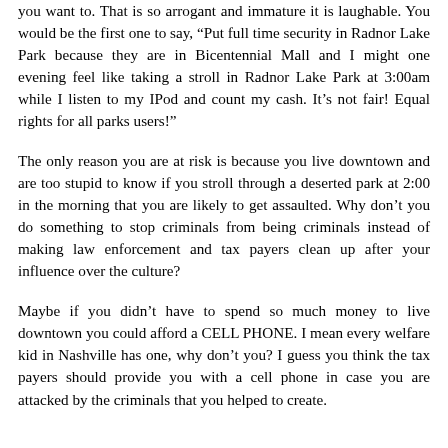you want to. That is so arrogant and immature it is laughable. You would be the first one to say, “Put full time security in Radnor Lake Park because they are in Bicentennial Mall and I might one evening feel like taking a stroll in Radnor Lake Park at 3:00am while I listen to my IPod and count my cash. It’s not fair! Equal rights for all parks users!”
The only reason you are at risk is because you live downtown and are too stupid to know if you stroll through a deserted park at 2:00 in the morning that you are likely to get assaulted. Why don’t you do something to stop criminals from being criminals instead of making law enforcement and tax payers clean up after your influence over the culture?
Maybe if you didn’t have to spend so much money to live downtown you could afford a CELL PHONE. I mean every welfare kid in Nashville has one, why don’t you? I guess you think the tax payers should provide you with a cell phone in case you are attacked by the criminals that you helped to create.